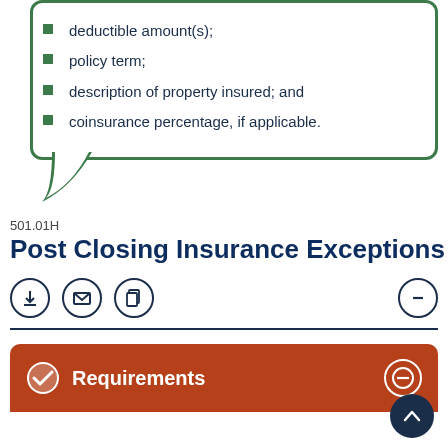deductible amount(s);
policy term;
description of property insured; and
coinsurance percentage, if applicable.
501.01H
Post Closing Insurance Exceptions
Requirements